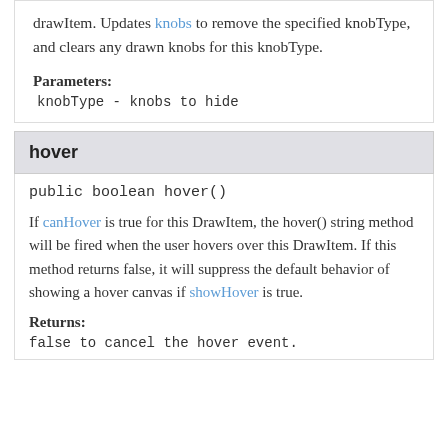drawItem. Updates knobs to remove the specified knobType, and clears any drawn knobs for this knobType.
Parameters:
knobType - knobs to hide
hover
public boolean hover()
If canHover is true for this DrawItem, the hover() string method will be fired when the user hovers over this DrawItem. If this method returns false, it will suppress the default behavior of showing a hover canvas if showHover is true.
Returns:
false to cancel the hover event.